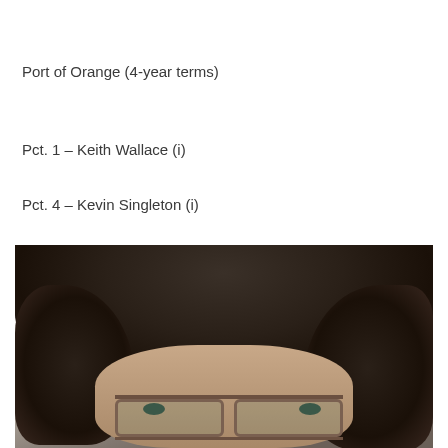Port of Orange (4-year terms)
Pct. 1 – Keith Wallace (i)
Pct. 4 – Kevin Singleton (i)
[Figure (photo): Close-up photo of a person with dark curly hair and tortoiseshell glasses, photographed from forehead to mid-face level]